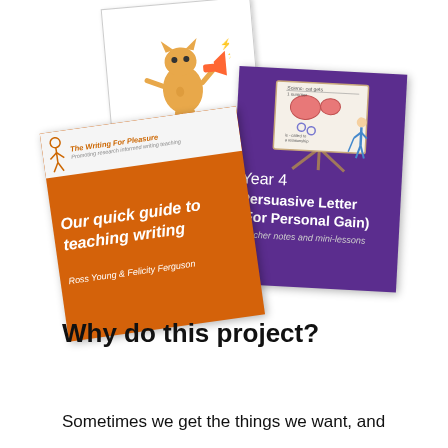[Figure (illustration): Three overlapping book/booklet covers: (1) white cover with cartoon cat holding megaphone, 'Year 4' in purple, 'Persuasive Letter For Personal Gain' in pink; (2) purple cover with easel illustration, 'Year 4 Persuasive Letter (For Personal Gain) Teacher notes and mini-lessons'; (3) orange cover with 'Our quick guide to teaching writing' by Ross Young & Felicity Ferguson, with a Writing For Pleasure logo strip at top.]
Why do this project?
Sometimes we get the things we want, and